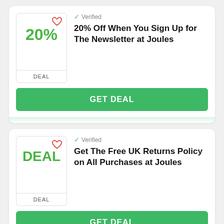[Figure (other): Deal card 1: badge showing 20% with heart icon and DEAL label, verified checkmark, title '20% Off When You Sign Up for The Newsletter at Joules', GET DEAL button]
[Figure (other): Deal card 2: badge showing DEAL with heart icon and DEAL label, verified checkmark, title 'Get The Free UK Returns Policy on All Purchases at Joules', GET DEAL button]